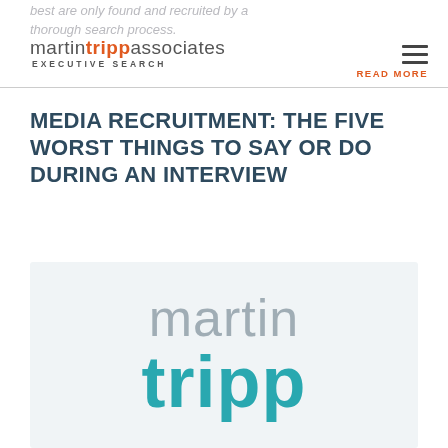best are only found and recruited by a thorough search process.
[Figure (logo): Martin Tripp Associates Executive Search logo in header, with hamburger menu icon and READ MORE link]
MEDIA RECRUITMENT: THE FIVE WORST THINGS TO SAY OR DO DURING AN INTERVIEW
[Figure (logo): Martin Tripp Associates large logo image showing 'martin' in grey and 'tripp' in teal/turquoise on a light grey background]